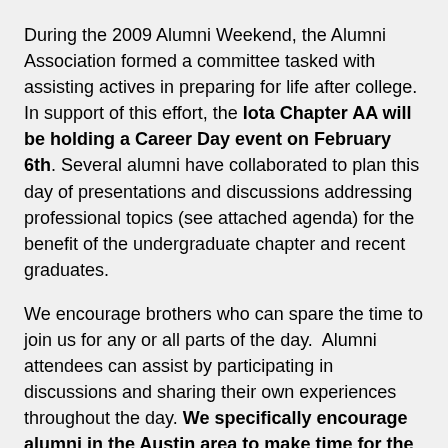During the 2009 Alumni Weekend, the Alumni Association formed a committee tasked with assisting actives in preparing for life after college. In support of this effort, the Iota Chapter AA will be holding a Career Day event on February 6th. Several alumni have collaborated to plan this day of presentations and discussions addressing professional topics (see attached agenda) for the benefit of the undergraduate chapter and recent graduates.
We encourage brothers who can spare the time to join us for any or all parts of the day. Alumni attendees can assist by participating in discussions and sharing their own experiences throughout the day. We specifically encourage alumni in the Austin area to make time for the evening networking event at Fish City in Georgetown, which will be a great chance for these guys to practice networking strategies discussed during the